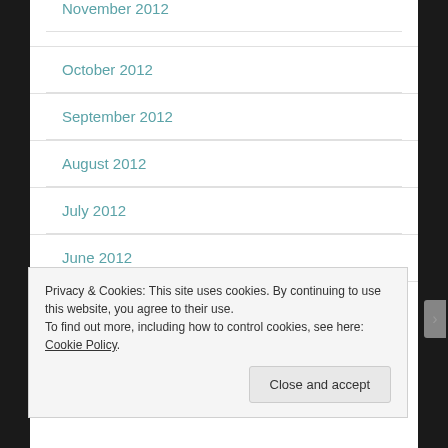November 2012
October 2012
September 2012
August 2012
July 2012
June 2012
May 2012
Privacy & Cookies: This site uses cookies. By continuing to use this website, you agree to their use.
To find out more, including how to control cookies, see here: Cookie Policy
Close and accept